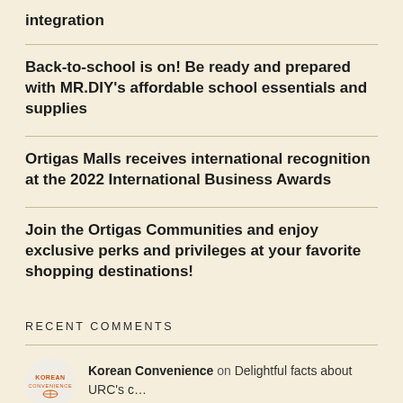integration
Back-to-school is on! Be ready and prepared with MR.DIY’s affordable school essentials and supplies
Ortigas Malls receives international recognition at the 2022 International Business Awards
Join the Ortigas Communities and enjoy exclusive perks and privileges at your favorite shopping destinations!
RECENT COMMENTS
Korean Convenience on Delightful facts about URC’s c…